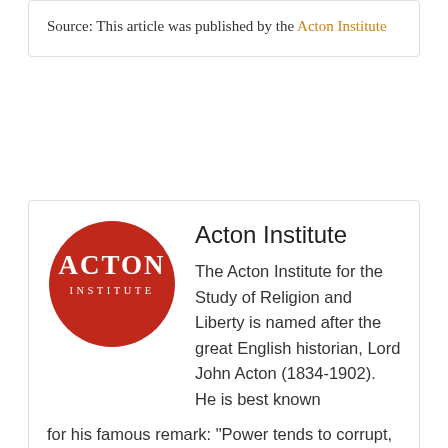Source: This article was published by the Acton Institute
Acton Institute
[Figure (logo): Acton Institute circular red logo with white text reading ACTON INSTITUTE]
The Acton Institute for the Study of Religion and Liberty is named after the great English historian, Lord John Acton (1834-1902). He is best known for his famous remark: “Power tends to corrupt, and absolute power corrupts absolutely.” Inspired by his work on the relation between liberty and morality, the Acton Institute seeks to articulate a vision of society that is both free and virtuous, the end of which is human flourishing. To clarify this relationship, the Institute holds seminars and publishes various books, monographs, periodicals,